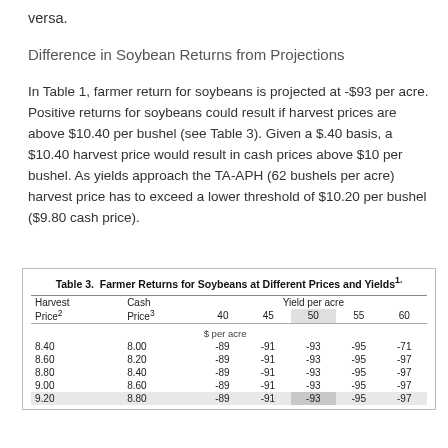versa.
Difference in Soybean Returns from Projections
In Table 1, farmer return for soybeans is projected at -$93 per acre. Positive returns for soybeans could result if harvest prices are above $10.40 per bushel (see Table 3). Given a $.40 basis, a $10.40 harvest price would result in cash prices above $10 per bushel. As yields approach the TA-APH (62 bushels per acre) harvest price has to exceed a lower threshold of $10.20 per bushel ($9.80 cash price).
| Harvest Price² | Cash Price³ | 40 | 45 | 50 | 55 | 60 |
| --- | --- | --- | --- | --- | --- | --- |
| 8.40 | 8.00 | -89 | -91 | -93 | -95 | -71 |
| 8.60 | 8.20 | -89 | -91 | -93 | -95 | -97 |
| 8.80 | 8.40 | -89 | -91 | -93 | -95 | -97 |
| 9.00 | 8.60 | -89 | -91 | -93 | -95 | -97 |
| 9.20 | 8.80 | -89 | -91 | -93 | -95 | -97 |